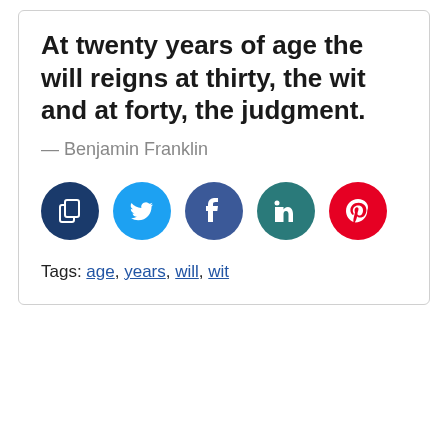At twenty years of age the will reigns at thirty, the wit and at forty, the judgment.
— Benjamin Franklin
[Figure (infographic): Five social share buttons: copy (dark blue), Twitter (light blue), Facebook (dark blue-purple), LinkedIn (teal), Pinterest (red)]
Tags: age, years, will, wit